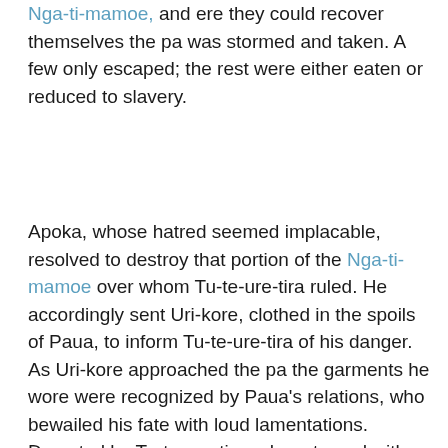Nga-ti-mamoe, and ere they could recover themselves the pa was stormed and taken. A few only escaped; the rest were either eaten or reduced to slavery.
Apoka, whose hatred seemed implacable, resolved to destroy that portion of the Nga-ti-mamoe over whom Tu-te-ure-tira ruled. He accordingly sent Uri-kore, clothed in the spoils of Paua, to inform Tu-te-ure-tira of his danger. As Uri-kore approached the pa the garments he wore were recognized by Paua's relations, who bewailed his fate with loud lamentations. Deserted by Tu-te-ure-tira, who returned with Uri-kore to the camp of his victorious countrymen, and dreading an attack, the Nga-ti-mamoe abandoned their settlement, and fled some distance down the coast towards Kai-koura (eat crawfish), where they remained